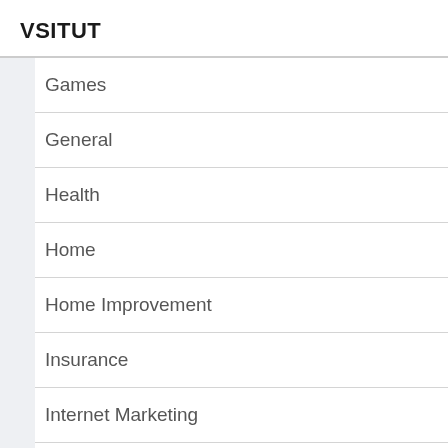VSITUT
Games
General
Health
Home
Home Improvement
Insurance
Internet Marketing
Law
Pet
Pets